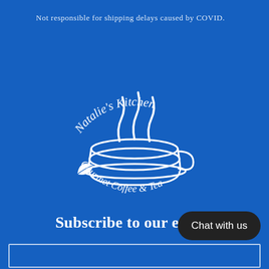Not responsible for shipping delays caused by COVID.
[Figure (logo): Natalie's Kitchen Gourmet Coffee & Tea circular logo with a steaming coffee cup in white on blue background]
Subscribe to our e
Chat with us